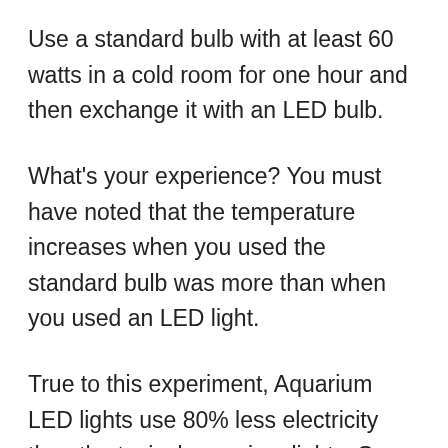Use a standard bulb with at least 60 watts in a cold room for one hour and then exchange it with an LED bulb.
What's your experience? You must have noted that the temperature increases when you used the standard bulb was more than when you used an LED light.
True to this experiment, Aquarium LED lights use 80% less electricity than the typical aquarium lights. So, they indeed generate heat, but in smaller quantities that's not